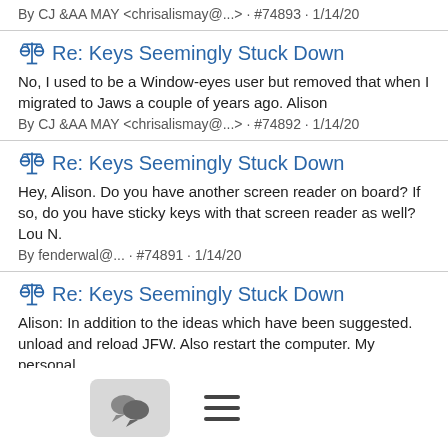By CJ &AA MAY <chrisalismay@...> · #74893 · 1/14/20
Re: Keys Seemingly Stuck Down
No, I used to be a Window-eyes user but removed that when I migrated to Jaws a couple of years ago. Alison
By CJ &AA MAY <chrisalismay@...> · #74892 · 1/14/20
Re: Keys Seemingly Stuck Down
Hey, Alison. Do you have another screen reader on board? If so, do you have sticky keys with that screen reader as well? Lou N.
By fenderwal@... · #74891 · 1/14/20
Re: Keys Seemingly Stuck Down
Alison: In addition to the ideas which have been suggested. unload and reload JFW. Also restart the computer. My personal...
By Dave Durber · #74890 · 1/14/20
Re: Keys Seemingly Stuck Down
I discovered that this actually works with both shift keys, incidentally, even though it didn't solve my problem.